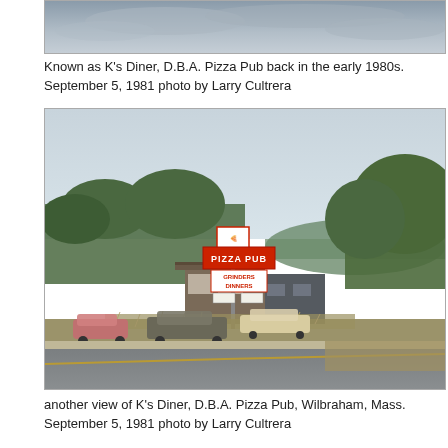[Figure (photo): Top portion of a vintage photograph showing a gray overcast sky, cropped — only the upper part of the image is visible.]
Known as K's Diner, D.B.A. Pizza Pub back in the early 1980s.
September 5, 1981 photo by Larry Cultrera
[Figure (photo): Outdoor color photograph taken September 5, 1981 showing K's Diner operating as Pizza Pub in Wilbraham, Mass. A red roadside sign reads 'PIZZA PUB' with sub-signs for 'GRINDERS DINNERS'. A low-slung commercial building is visible with parked cars in front, trees and hills in the background, and a road in the foreground.]
another view of K's Diner, D.B.A. Pizza Pub, Wilbraham, Mass.
September 5, 1981 photo by Larry Cultrera